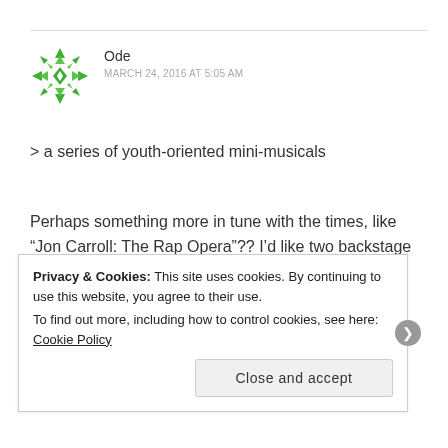[Figure (illustration): Green geometric snowflake/mandala avatar icon for user Ode]
Ode
MARCH 24, 2016 AT 5:05 AM
> a series of youth-oriented mini-musicals
Perhaps something more in tune with the times, like “Jon Carroll: The Rap Opera”?? I’d like two backstage passes for opening night, please. But take your time, y’know.
Privacy & Cookies: This site uses cookies. By continuing to use this website, you agree to their use.
To find out more, including how to control cookies, see here: Cookie Policy
Close and accept